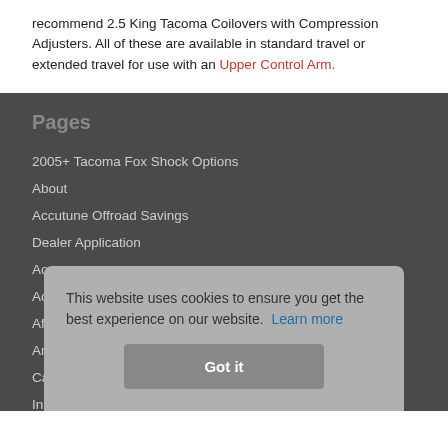recommend 2.5 King Tacoma Coilovers with Compression Adjusters. All of these are available in standard travel or extended travel for use with an Upper Control Arm.
Pages
2005+ Tacoma Fox Shock Options
About
Accutune Offroad Savings
Dealer Application
Ac...
Ac...
Af...
Am...
Ca...
In...
This website uses cookies to ensure you get the best experience on our website. Learn more
Got it